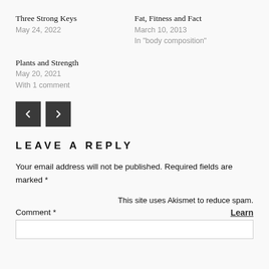Three Strong Keys
May 24, 2022
Fat, Fitness and Fact
March 10, 2013
In "body composition"
Plants and Strength
May 20, 2021
With 1 comment
[Figure (other): Navigation buttons: left arrow and right arrow]
LEAVE A REPLY
Your email address will not be published. Required fields are marked *
This site uses Akismet to reduce spam. Learn
Comment *